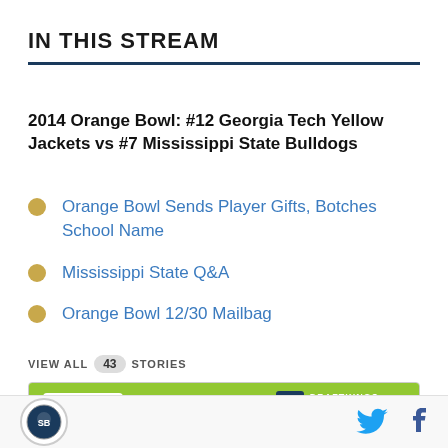IN THIS STREAM
2014 Orange Bowl: #12 Georgia Tech Yellow Jackets vs #7 Mississippi State Bulldogs
Orange Bowl Sends Player Gifts, Botches School Name
Mississippi State Q&A
Orange Bowl 12/30 Mailbag
VIEW ALL 43 STORIES
[Figure (other): DraftKings Sportsbook bet widget showing CLE vs GT matchup at 12:00a]
Site logo with Twitter and Facebook social icons